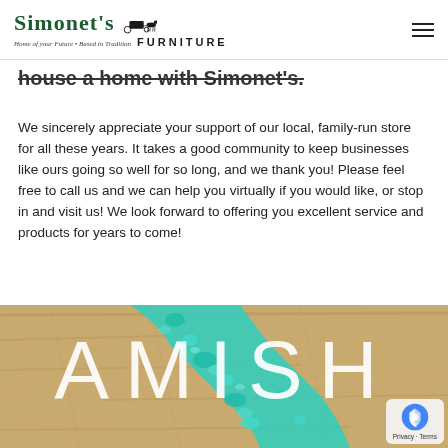Simonet's Furniture — Home of your Future • Based in Tradition
house a home with Simonet's.
We sincerely appreciate your support of our local, family-run store for all these years. It takes a good community to keep businesses like ours going so well for so long, and we thank you! Please feel free to call us and we can help you virtually if you would like, or stop in and visit us! We look forward to offering you excellent service and products for years to come!
[Figure (photo): A close-up photo of a wooden surface with a turquoise resin river inlay, overlaid with the large white text 'AMISH']